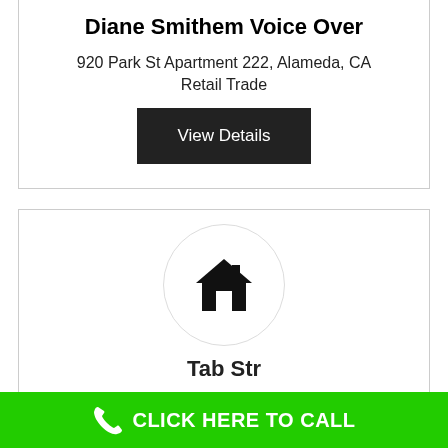Diane Smithem Voice Over
920 Park St Apartment 222, Alameda, CA
Retail Trade
View Details
[Figure (illustration): Circle icon containing a house/home symbol in black]
Tab Str...
CLICK HERE TO CALL